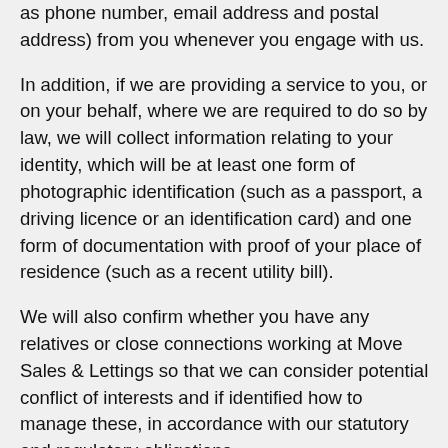as phone number, email address and postal address) from you whenever you engage with us.
In addition, if we are providing a service to you, or on your behalf, where we are required to do so by law, we will collect information relating to your identity, which will be at least one form of photographic identification (such as a passport, a driving licence or an identification card) and one form of documentation with proof of your place of residence (such as a recent utility bill).
We will also confirm whether you have any relatives or close connections working at Move Sales & Lettings so that we can consider potential conflict of interests and if identified how to manage these, in accordance with our statutory and regulatory obligations.
Depending on the service that we provide to you (or on your behalf) we may also collect additional personal information as detailed below;